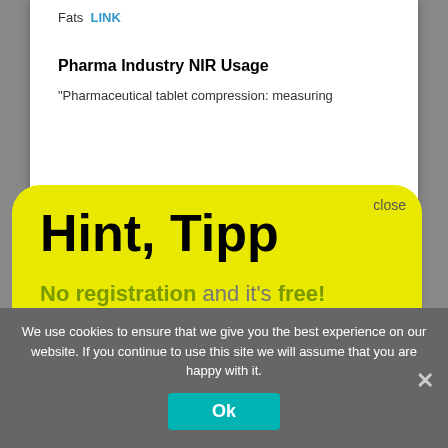Fats LINK
Pharma Industry NIR Usage
“Pharmaceutical tablet compression: measuring…
Hint, Tipp
No registration and it’s free!
There is a free NIR-Predictor Software.
> > > Show me < < <
close
We use cookies to ensure that we give you the best experience on our website. If you continue to use this site we will assume that you are happy with it.
Ok
Other
“■■■■■■■■■■■■■■■■■” LINK